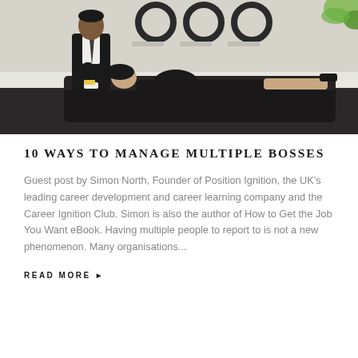[Figure (photo): Office scene with a man in a suit and tie standing looking at his watch, and a woman in black clothing lying on a dark sofa/couch in an office setting with white walls and circular decorations.]
10 WAYS TO MANAGE MULTIPLE BOSSES
Guest post by Simon North, Founder of Position Ignition, the UK's leading career development and career learning company and the Career Ignition Club. Simon is also the author of How to Get the Job You Want eBook. Having multiple people to report to is not a new phenomenon. Many organisations...
READ MORE ▸